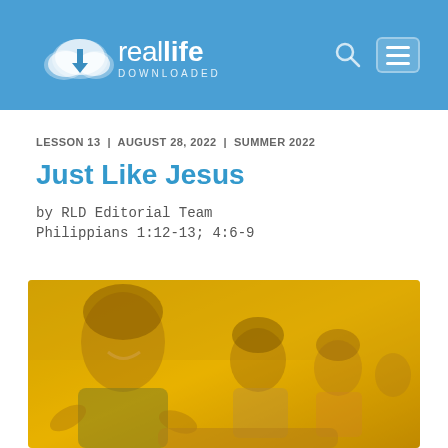[Figure (logo): Real Life Downloaded logo — cloud icon with download arrow and text 'real life DOWNLOADED' in white on blue header bar, with search icon and hamburger menu icon on the right]
LESSON 13 | AUGUST 28, 2022 | SUMMER 2022
Just Like Jesus
by RLD Editorial Team
Philippians 1:12-13; 4:6-9
[Figure (photo): Group of smiling children outdoors with a warm yellow/golden color overlay filter, foreground child in plaid shirt smiling, other children visible in background]